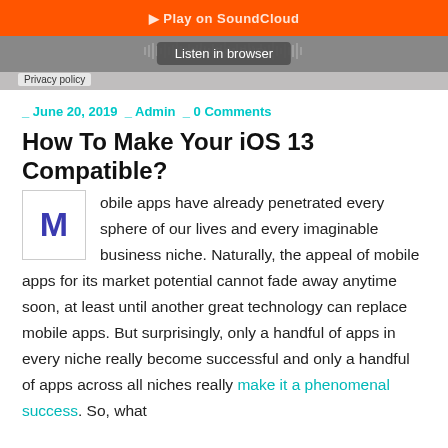[Figure (screenshot): SoundCloud embedded audio player widget with orange 'Play on SoundCloud' button, waveform area with SoundCloud logo, 'Listen in browser' button, and a privacy policy bar at the bottom.]
_ June 20, 2019 _ Admin _ 0 Comments
How To Make Your iOS 13 Compatible?
Mobile apps have already penetrated every sphere of our lives and every imaginable business niche. Naturally, the appeal of mobile apps for its market potential cannot fade away anytime soon, at least until another great technology can replace mobile apps. But surprisingly, only a handful of apps in every niche really become successful and only a handful of apps across all niches really make it a phenomenal success. So, what